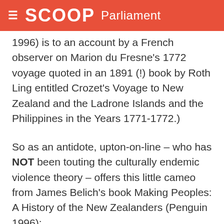SCOOP Parliament
1996) is to an account by a French observer on Marion du Fresne’s 1772 voyage quoted in an 1891 (!) book by Roth Ling entitled Crozet’s Voyage to New Zealand and the Ladrone Islands and the Philippines in the Years 1771-1772.)
So as an antidote, upton-on-line – who has NOT been touting the culturally endemic violence theory – offers this little cameo from James Belich’s book Making Peoples: A History of the New Zealanders (Penguin 1996):
“On 23 November 1773, at a Maori